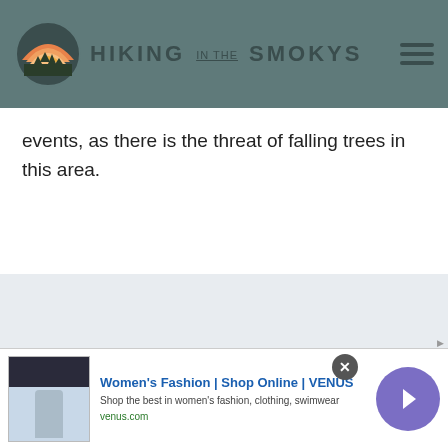HIKING IN THE SMOKYS
events, as there is the threat of falling trees in this area.
Spruce-Fir Trail Map
[Figure (map): Spruce-Fir trail map showing mountain paths, creek, and trail distances (1.1, 1.0)]
[Figure (screenshot): Advertisement banner: Women's Fashion | Shop Online | VENUS. Shop the best in women's fashion, clothing, swimwear. venus.com]